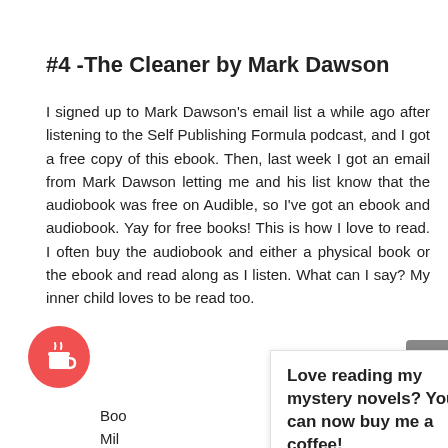#4 -The Cleaner by Mark Dawson
I signed up to Mark Dawson's email list a while ago after listening to the Self Publishing Formula podcast, and I got a free copy of this ebook. Then, last week I got an email from Mark Dawson letting me and his list know that the audiobook was free on Audible, so I've got an ebook and audiobook. Yay for free books! This is how I love to read. I often buy the audiobook and either a physical book or the ebook and read along as I listen. What can I say? My inner child loves to be read too.
Love reading my mystery novels? You can now buy me a coffee!
Boo... ; after you whe... everything else has failed. He goes on the